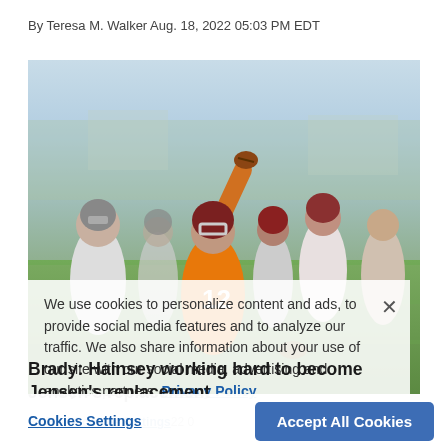By Teresa M. Walker Aug. 18, 2022 05:03 PM EDT
[Figure (photo): Football player wearing orange jersey number 12 throwing a pass at practice, surrounded by teammates in white and red uniforms on a green field]
We use cookies to personalize content and ads, to provide social media features and to analyze our traffic. We also share information about your use of our site with our social media, advertising and analytics partners. Privacy Policy
Brady: Hainsey working hard to become Jensen's replacement
By Fred ...22 0...
Cookies Settings
Accept All Cookies